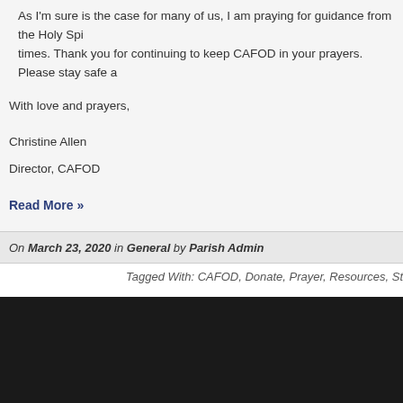As I'm sure is the case for many of us, I am praying for guidance from the Holy Spi... times. Thank you for continuing to keep CAFOD in your prayers. Please stay safe a...
With love and prayers,
Christine Allen
Director, CAFOD
Read More »
On March 23, 2020 in General by Parish Admin
Tagged With: CAFOD, Donate, Prayer, Resources, St...
QUICK LINKS
The following links provide useful information.
St. Dunstan's Bourne End
Northampton Diocese
CAFOD
Diocese Youth Ministry